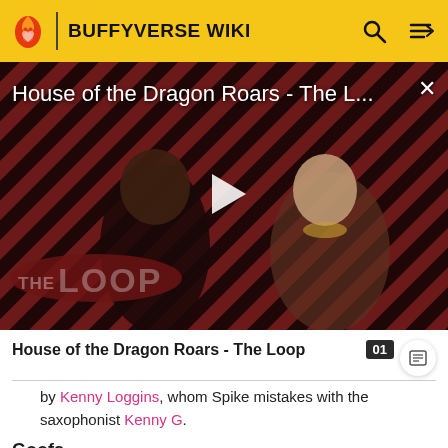BUFFYVERSE WIKI
[Figure (screenshot): Video thumbnail showing two characters from House of the Dragon against a red and black diagonal stripe background with THE LOOP logo watermark and a play button overlay. Title overlay reads: House of the Dragon Roars - The L...]
House of the Dragon Roars - The Loop
by Kenny Loggins, whom Spike mistakes with the saxophonist Kenny G.
Goofs